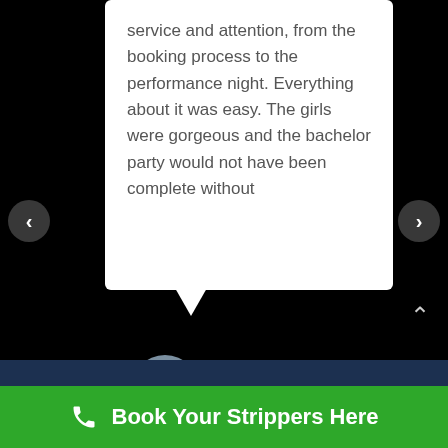service and attention, from the booking process to the performance night. Everything about it was easy. The girls were gorgeous and the bachelor party would not have been complete without
Alan O'Connell
5 months ago
Book Your Strippers Here